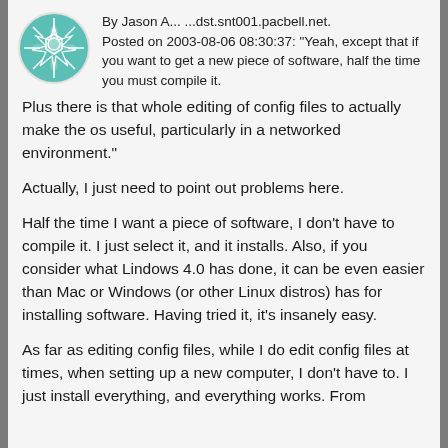[Figure (illustration): Teal/green decorative avatar icon with geometric quilt-like pattern in a circle]
By Jason A... ...dst.snt001.pacbell.net. Posted on 2003-08-06 08:30:37: "Yeah, except that if you want to get a new piece of software, half the time you must compile it.
Plus there is that whole editing of config files to actually make the os useful, particularly in a networked environment."
Actually, I just need to point out problems here.
Half the time I want a piece of software, I don't have to compile it. I just select it, and it installs. Also, if you consider what Lindows 4.0 has done, it can be even easier than Mac or Windows (or other Linux distros) has for installing software. Having tried it, it's insanely easy.
As far as editing config files, while I do edit config files at times, when setting up a new computer, I don't have to. I just install everything, and everything works. From